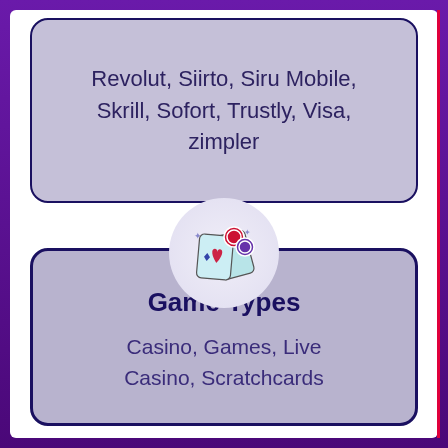Revolut, Siirto, Siru Mobile, Skrill, Sofort, Trustly, Visa, zimpler
[Figure (illustration): Casino card and chips icon in a circular white badge]
Game Types
Casino, Games, Live Casino, Scratchcards